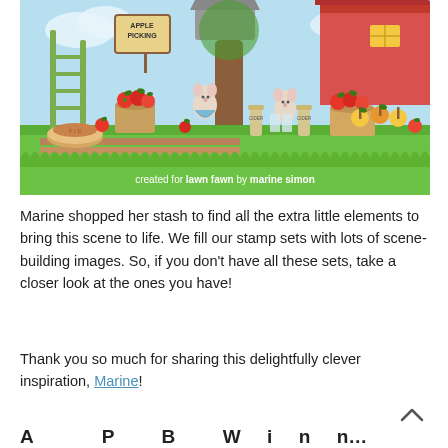[Figure (illustration): A colorful apple orchard scene illustration featuring cartoon mice characters picking apples near a red barn. Includes baskets of red apples, apple pies, cider bottles, caramel apples on sticks, a ladder, and grass border. Watermark at bottom reads: created for lawn fawn by marine simon]
Marine shopped her stash to find all the extra little elements to bring this scene to life. We fill our stamp sets with lots of scene-building images. So, if you don't have all these sets, take a closer look at the ones you have!
Thank you so much for sharing this delightfully clever inspiration, Marine!